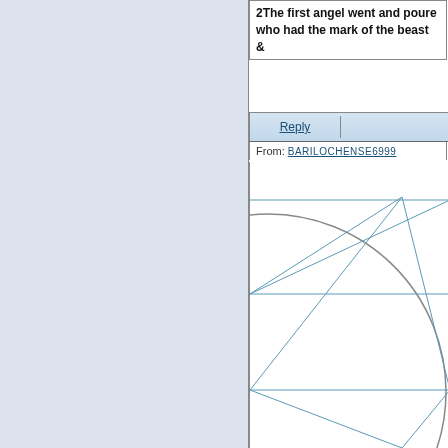2The first angel went and poure... who had the mark of the beast &...
[Figure (other): Reply button bar UI element]
From: BARILOCHENSE6999
[Figure (engineering-diagram): Geometric diagram showing a circle with inscribed triangles and horizontal lines forming a Star of David or hexagram-like pattern, drawn with blue and gray lines.]